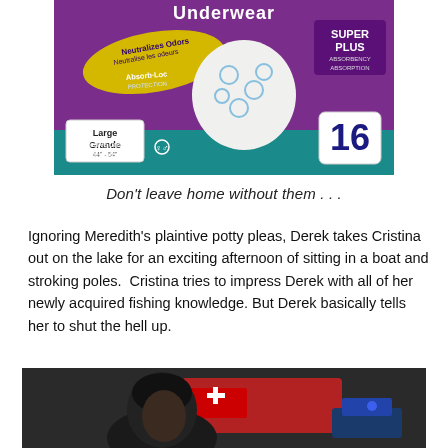[Figure (photo): Poise or similar adult protective underwear product package, purple/teal design, 'Underwear', 'Neutralizes Odors / Neutralise les odeurs', 'Absorb-Loc Protection', 'SUPER PLUS ABSORBENCY ABSORPTION', 'Large / Grande 44"-54"', count 16, with image of underwear on package front.]
Don't leave home without them . . .
Ignoring Meredith's plaintive potty pleas, Derek takes Cristina out on the lake for an exciting afternoon of sitting in a boat and stroking poles.  Cristina tries to impress Derek with all of her newly acquired fishing knowledge. But Derek basically tells her to shut the hell up.
[Figure (photo): Scene photo showing a person in the foreground (dark hair, partial face), with a red fire truck/vehicle and blue car visible in the background.]